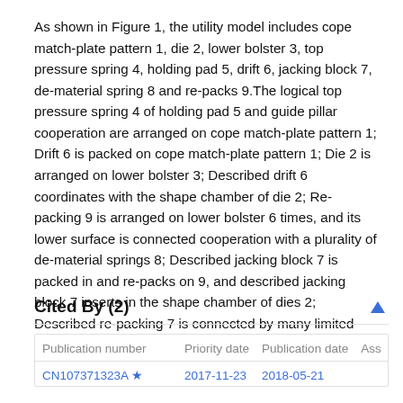As shown in Figure 1, the utility model includes cope match-plate pattern 1, die 2, lower bolster 3, top pressure spring 4, holding pad 5, drift 6, jacking block 7, de-material spring 8 and re-packs 9.The logical top pressure spring 4 of holding pad 5 and guide pillar cooperation are arranged on cope match-plate pattern 1; Drift 6 is packed on cope match-plate pattern 1; Die 2 is arranged on lower bolster 3; Described drift 6 coordinates with the shape chamber of die 2; Re-packing 9 is arranged on lower bolster 6 times, and its lower surface is connected cooperation with a plurality of de-material springs 8; Described jacking block 7 is packed in and re-packs on 9, and described jacking block 7 inserts in the shape chamber of dies 2; Described re-packing 7 is connected by many limited posts 10 with 1 of cope match-plate pattern.
Cited By (2)
| Publication number | Priority date | Publication date | Ass |
| --- | --- | --- | --- |
| CN107371323A ★ | 2017-11-23 | 2018-05-21 |  |